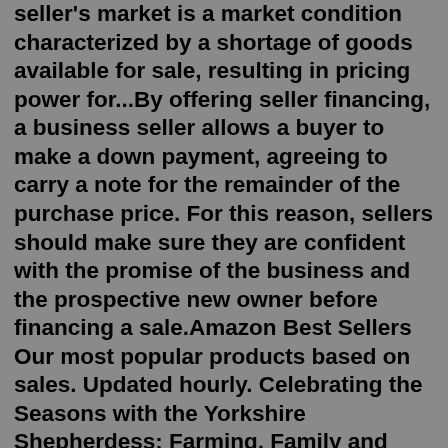seller's market is a market condition characterized by a shortage of goods available for sale, resulting in pricing power for...By offering seller financing, a business seller allows a buyer to make a down payment, agreeing to carry a note for the remainder of the purchase price. For this reason, sellers should make sure they are confident with the promise of the business and the prospective new owner before financing a sale.Amazon Best Sellers Our most popular products based on sales. Updated hourly. Celebrating the Seasons with the Yorkshire Shepherdess: Farming, Family and Delicious Recipes to Share. Would You Rather Game Book: For Kids 6-12 Years Old: The Book of Silly Scenarios, Challenging Choices...Free shipping on millions of items. Get the best of Shopping and Entertainment with Prime. Enjoy low prices and great deals on the largest selection of everyday essentials and other products, including fashion, home, beauty, electronics, Alexa Devices, sporting goods, toys, automotive, pets, baby, books, video games, musical instruments, office